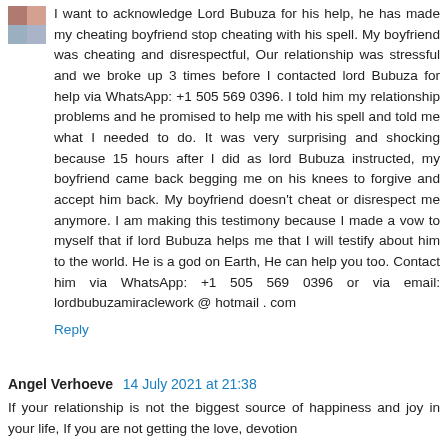[Figure (photo): Small avatar/profile photo thumbnail in top-left corner of comment]
I want to acknowledge Lord Bubuza for his help, he has made my cheating boyfriend stop cheating with his spell. My boyfriend was cheating and disrespectful, Our relationship was stressful and we broke up 3 times before I contacted lord Bubuza for help via WhatsApp: +1 505 569 0396. I told him my relationship problems and he promised to help me with his spell and told me what I needed to do. It was very surprising and shocking because 15 hours after I did as lord Bubuza instructed, my boyfriend came back begging me on his knees to forgive and accept him back. My boyfriend doesn't cheat or disrespect me anymore. I am making this testimony because I made a vow to myself that if lord Bubuza helps me that I will testify about him to the world. He is a god on Earth, He can help you too. Contact him via WhatsApp: +1 505 569 0396 or via email: lordbubuzamiraclework @ hotmail . com
Reply
Angel Verhoeve  14 July 2021 at 21:38
If your relationship is not the biggest source of happiness and joy in your life, If you are not getting the love, devotion